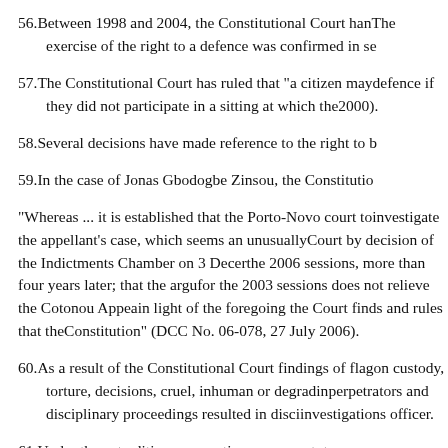56. Between 1998 and 2004, the Constitutional Court han... The exercise of the right to a defence was confirmed in se...
57. The Constitutional Court has ruled that "a citizen may... defence if they did not participate in a sitting at which the... 2000).
58. Several decisions have made reference to the right to b...
59. In the case of Jonas Gbodogbe Zinsou, the Constitutio...
"Whereas ... it is established that the Porto-Novo court to... investigate the appellant’s case, which seems an unusually... Court by decision of the Indictments Chamber on 3 Decer... the 2006 sessions, more than four years later; that the argu... for the 2003 sessions does not relieve the Cotonou Appea... in light of the foregoing the Court finds and rules that the... Constitution” (DCC No. 06-078, 27 July 2006).
60. As a result of the Constitutional Court findings of flag... on custody, torture, decisions, cruel, inhuman or degradin... perpetrators and disciplinary proceedings resulted in disci... investigations officer.
61. Under the extradition cooperation agreement, tempora...